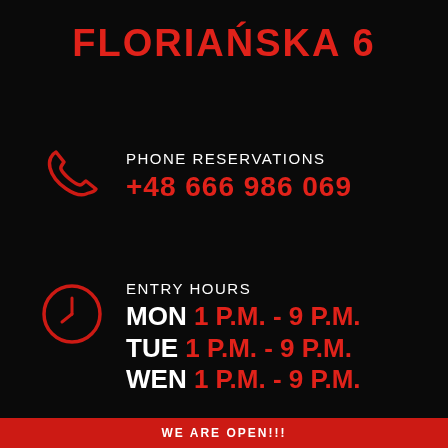FLORIAŃSKA 6
PHONE RESERVATIONS
+48 666 986 069
ENTRY HOURS
MON 1 P.M. - 9 P.M.
TUE 1 P.M. - 9 P.M.
WEN 1 P.M. - 9 P.M.
WE ARE OPEN!!!